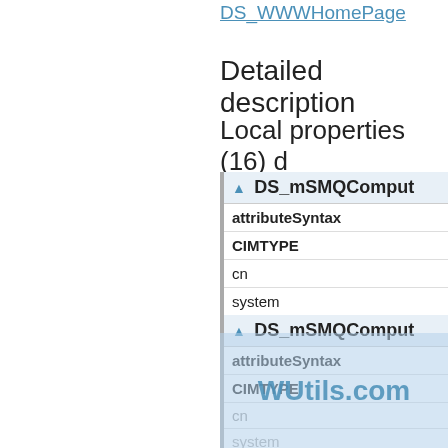DS_WWWHomePage
Detailed description
Local properties (16) d
| ▲ DS_mSMQComputerType |
| --- |
| attributeSyntax |
| CIMTYPE |
| cn |
| system |
| DS_mSMQComputerType |
| namespace |
| ▲ DS_mSMQComputerType |
| --- |
| attributeSyntax |
| CIMTYPE |
| cn |
| system |
[Figure (other): WUtils.com watermark overlay on document]